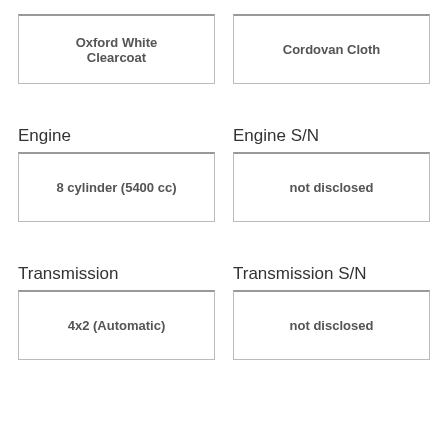Oxford White Clearcoat
Cordovan Cloth
Engine
Engine S/N
8 cylinder (5400 cc)
not disclosed
Transmission
Transmission S/N
4x2 (Automatic)
not disclosed